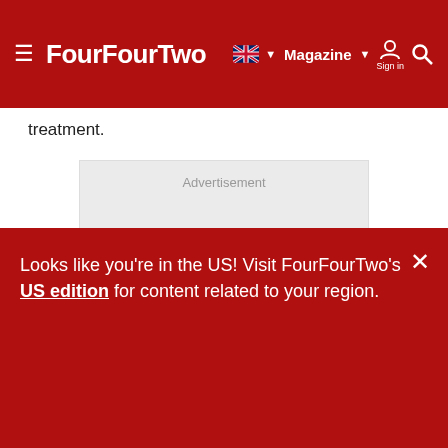FourFourTwo — Magazine Sign in
treatment.
[Figure (other): Advertisement placeholder box with grey background]
Looks like you're in the US! Visit FourFourTwo's US edition for content related to your region.